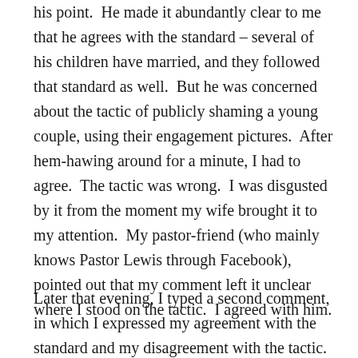his point.  He made it abundantly clear to me that he agrees with the standard – several of his children have married, and they followed that standard as well.  But he was concerned about the tactic of publicly shaming a young couple, using their engagement pictures.  After hem-hawing around for a minute, I had to agree.  The tactic was wrong.  I was disgusted by it from the moment my wife brought it to my attention.  My pastor-friend (who mainly knows Pastor Lewis through Facebook), pointed out that my comment left it unclear where I stood on the tactic.  I agreed with him.
Later that evening, I typed a second comment, in which I expressed my agreement with the standard and my disagreement with the tactic.  I commented that, if one